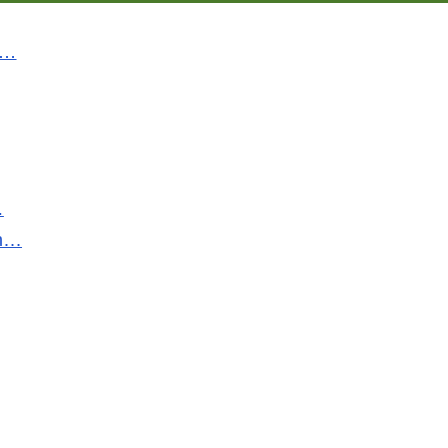Gibraltar Grate Shale Mines Ore Furnace Quay Methane Lease Biomass Petroleum Peat Cruiser Station Ton Pier Sulfur Rig Iron Hauling Cuba Burner Barge Steam Deposit Port Harbor Shovel Stove Tar Electricity Lump Gas Navy Kiln Stratum Borne Distillation Norfolk Sulphur Transporting Fleet Chute Hydrocarbon
Adjective
Steam Locomotive Tar Naval Combustion Madagascar Port Glowing Fleet Charcoal Underway Burning Mineral Sailing
Verb
Haul Fire Mine Finalize